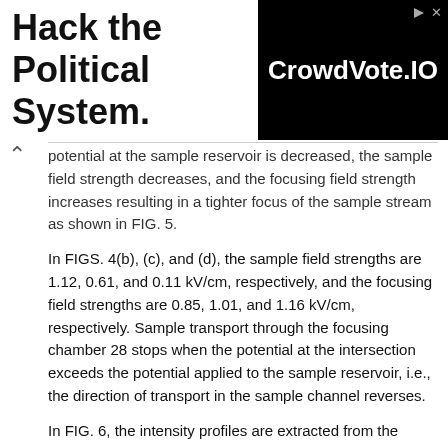[Figure (other): Advertisement banner: 'Hack the Political System.' with CrowdVote.IO logo on black background]
potential at the sample reservoir is decreased, the sample field strength decreases, and the focusing field strength increases resulting in a tighter focus of the sample stream as shown in FIG. 5.
In FIGS. 4(b), (c), and (d), the sample field strengths are 1.12, 0.61, and 0.11 kV/cm, respectively, and the focusing field strengths are 0.85, 1.01, and 1.16 kV/cm, respectively. Sample transport through the focusing chamber 28 stops when the potential at the intersection exceeds the potential applied to the sample reservoir, i.e., the direction of transport in the sample channel reverses.
In FIG. 6, the intensity profiles are extracted from the image in FIG. 4(d). The profiles are normalized in order to compare peak widths for the sample before the focusing chamber, in the chamber, and below the chamber. Profile 1 is taken before the sample enters the focusing region and is 3 μm above the intersection. This profile is similar for any cross-section taken along the sample channel. Profile 2 is 9 μm into the chamber, i.e., in the center of the focusing chamber, and shows substantial focusing.
Profile 3 is 3.3 μm wide (fwhm) and is 18 μm into the focusing cell, i.e., at the exit of the chamber. Profile 4 is 60 μm below the focusing chamber and